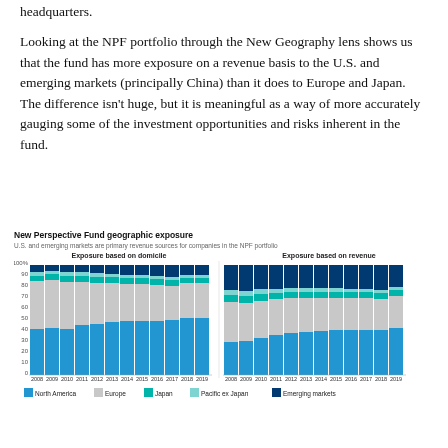headquarters.
Looking at the NPF portfolio through the New Geography lens shows us that the fund has more exposure on a revenue basis to the U.S. and emerging markets (principally China) than it does to Europe and Japan. The difference isn't huge, but it is meaningful as a way of more accurately gauging some of the investment opportunities and risks inherent in the fund.
[Figure (stacked-bar-chart): New Perspective Fund geographic exposure]
North America   Europe   Japan   Pacific ex Japan   Emerging markets